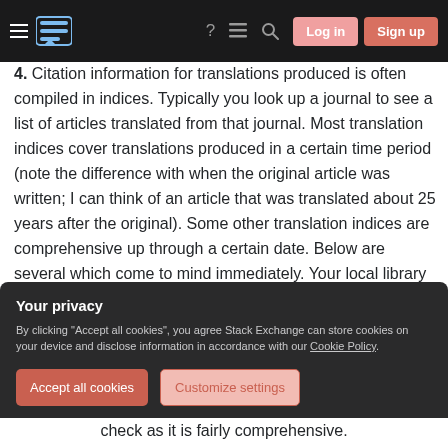Stack Exchange navigation bar with hamburger menu, logo, search, login and sign up buttons
Citation information for translations produced is often compiled in indices. Typically you look up a journal to see a list of articles translated from that journal. Most translation indices cover translations produced in a certain time period (note the difference with when the original article was written; I can think of an article that was translated about 25 years after the original). Some other translation indices are comprehensive up through a certain date. Below are several which come to mind immediately. Your local library may have one of
Your privacy
By clicking "Accept all cookies", you agree Stack Exchange can store cookies on your device and disclose information in accordance with our Cookie Policy.
Accept all cookies
Customize settings
check as it is fairly comprehensive.